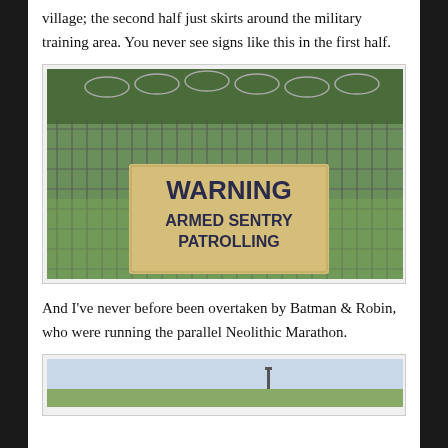The first half takes you through the occasional town and village; the second half just skirts around the military training area. You never see signs like this in the first half.
[Figure (photo): A warning sign on a military fence reading 'WARNING ARMED SENTRY PATROLLING'. The fence has razor wire on top and the sign is yellow/beige colored with dark text. Green grass and trees visible in background.]
And I've never before been overtaken by Batman & Robin, who were running the parallel Neolithic Marathon.
[Figure (photo): A partial view of a landscape photo, cut off at the bottom of the page.]